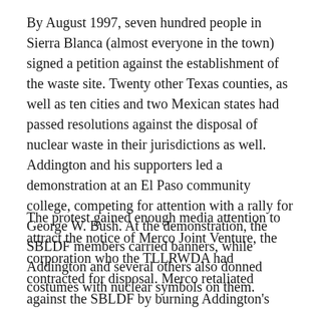By August 1997, seven hundred people in Sierra Blanca (almost everyone in the town) signed a petition against the establishment of the waste site. Twenty other Texas counties, as well as ten cities and two Mexican states had passed resolutions against the disposal of nuclear waste in their jurisdictions as well. Addington and his supporters led a demonstration at an El Paso community college, competing for attention with a rally for George W. Bush. At the demonstration, the SBLDF members carried banners, while Addington and several others also donned costumes with nuclear symbols on them.
The protest gained enough media attention to attract the notice of Merco Joint Venture, the corporation who the TLLRWDA had contracted for disposal. Merco retaliated against the SBLDF by burning Addington's